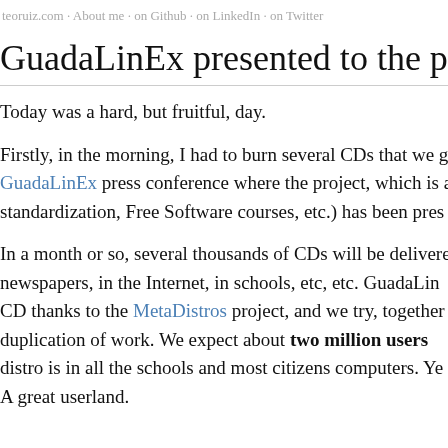teoruiz.com · About me · on Github · on LinkedIn · on Twitter
GuadaLinEx presented to the press.
Today was a hard, but fruitful, day.
Firstly, in the morning, I had to burn several CDs that we g GuadaLinEx press conference where the project, which is a standardization, Free Software courses, etc.) has been pres
In a month or so, several thousands of CDs will be delivere newspapers, in the Internet, in schools, etc, etc. GuadaLin CD thanks to the MetaDistros project, and we try, together duplication of work. We expect about two million users distro is in all the schools and most citizens computers. Ye A great userland.